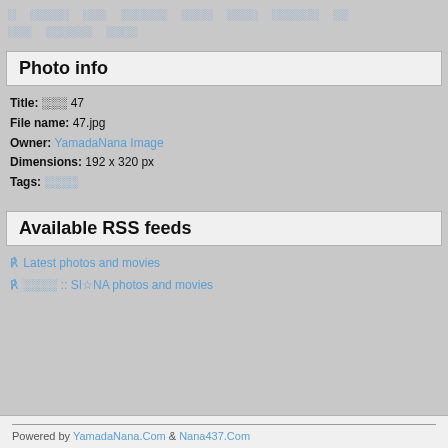░ ░░░░░ ░░░ ░░░░░░ ░░░░ ░░░░ ░░░░░░ ░░ ░░░ ░░░░░░ ░░░░
Photo info
Title: ░░░ 47
File name: 47.jpg
Owner: YamadaNana Image
Dimensions: 192 x 320 px
Tags: ░░░░
Available RSS feeds
Latest photos and movies
░░░░ :: SI☆NA photos and movies
Powered by YamadaNana.Com & Nana437.Com